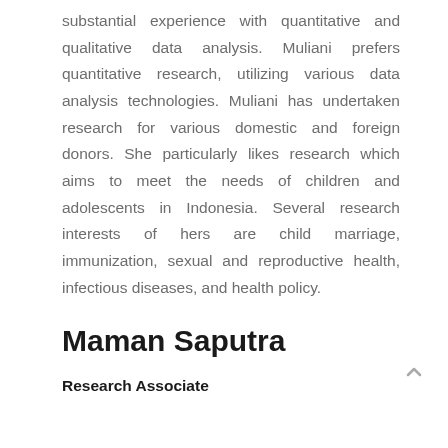substantial experience with quantitative and qualitative data analysis. Muliani prefers quantitative research, utilizing various data analysis technologies. Muliani has undertaken research for various domestic and foreign donors. She particularly likes research which aims to meet the needs of children and adolescents in Indonesia. Several research interests of hers are child marriage, immunization, sexual and reproductive health, infectious diseases, and health policy.
Maman Saputra
Research Associate